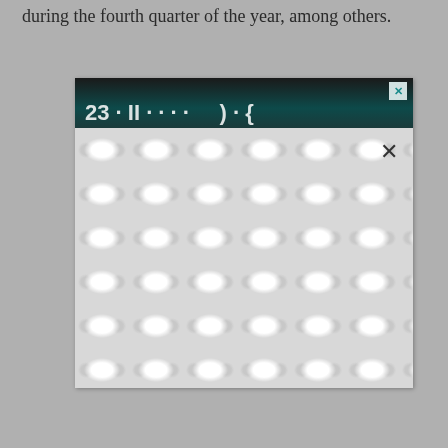during the fourth quarter of the year, among others.
[Figure (screenshot): An advertisement overlay/popup with a dark header bar showing partial text and logo, a teal/cyan X close button in the top-right corner of the header, a large white body area with a repeating grey dumbbell/chain-link pattern, and a dark X close button in the upper-right area of the white body.]